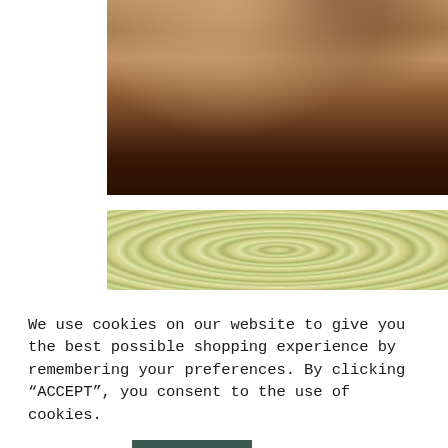[Figure (photo): Close-up photo of two people's legs/lower bodies standing on a sandy beach. One person has lighter skin wearing a patterned swimsuit, the other has darker skin. Sandy beach background visible.]
[Figure (photo): Partial photo showing a green and white swirling patterned fabric or beach ball, cut off at the bottom of the visible area.]
We use cookies on our website to give you the best possible shopping experience by remembering your preferences. By clicking “ACCEPT”, you consent to the use of cookies.
SETTINGS
ACCEPT